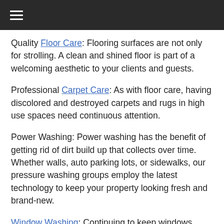≡ (hamburger menu icon)
Quality Floor Care: Flooring surfaces are not only for strolling. A clean and shined floor is part of a welcoming aesthetic to your clients and guests.
Professional Carpet Care: As with floor care, having discolored and destroyed carpets and rugs in high use spaces need continuous attention.
Power Washing: Power washing has the benefit of getting rid of dirt build up that collects over time. Whether walls, auto parking lots, or sidewalks, our pressure washing groups employ the latest technology to keep your property looking fresh and brand-new.
Window Washing: Continuing to keep windows clean of